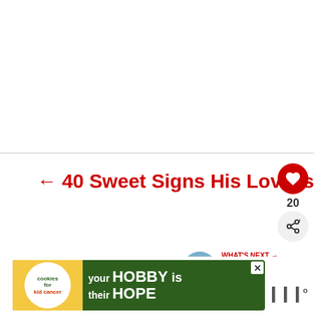[Figure (other): Blank white area at top of page, likely image content area not loaded]
← 40 Sweet Signs His Love Is True (And It Will Last)
20
WHAT'S NEXT → 20 Quotes That Will Bri...
[Figure (photo): Advertisement banner: cookies for kid cancer - your HOBBY is their HOPE, showing hands holding a yellow heart-shaped cookie]